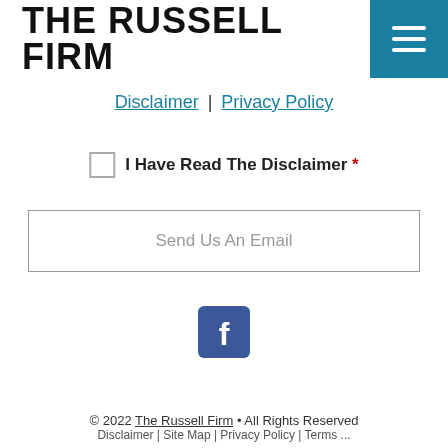THE RUSSELL FIRM
Disclaimer | Privacy Policy
I Have Read The Disclaimer *
Send Us An Email
[Figure (logo): Facebook icon - blue rounded square with white letter f]
© 2022 The Russell Firm • All Rights Reserved Disclaimer | Site Map | Privacy Policy | Terms ...